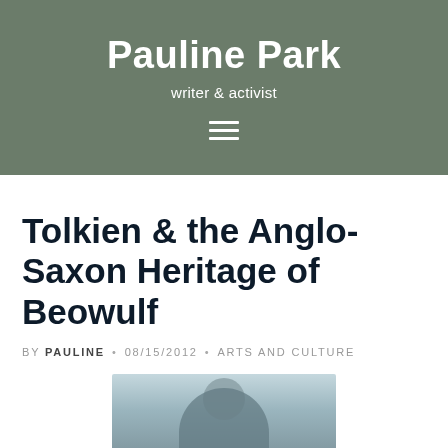Pauline Park
writer & activist
Tolkien & the Anglo-Saxon Heritage of Beowulf
BY PAULINE • 08/15/2012 • ARTS AND CULTURE
[Figure (photo): Photograph of a person, partially visible, against a light blue-grey background]